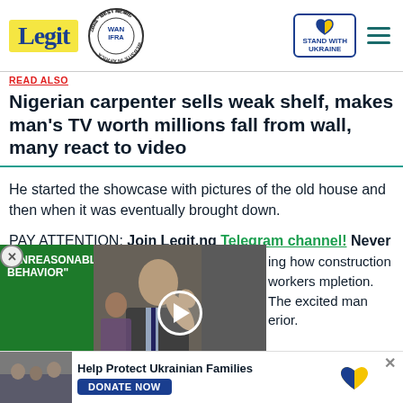Legit — WAN IFRA 2021 Best News Website in Africa — Stand With Ukraine
Nigerian carpenter sells weak shelf, makes man's TV worth millions fall from wall, many react to video
He started the showcase with pictures of the old house and then when it was eventually brought down.
PAY ATTENTION: Join Legit.ng Telegram channel! Never miss important updates!
[Figure (screenshot): Video thumbnail showing man in suit waving, with green bar text 'UNREASONABLE BEHAVIOR' and a play button overlay]
...ing how construction workers ...mpletion. The excited man ...erior.